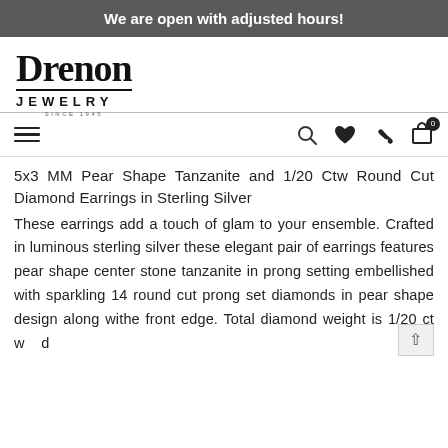We are open with adjusted hours!
[Figure (logo): Drenon Jewelry logo with serif text and SINCE 1945 tagline]
5x3 MM Pear Shape Tanzanite and 1/20 Ctw Round Cut Diamond Earrings in Sterling Silver
These earrings add a touch of glam to your ensemble. Crafted in luminous sterling silver these elegant pair of earrings features pear shape center stone tanzanite in prong setting embellished with sparkling 14 round cut prong set diamonds in pear shape design along with the front edge. Total diamond weight is 1/20 ctw and